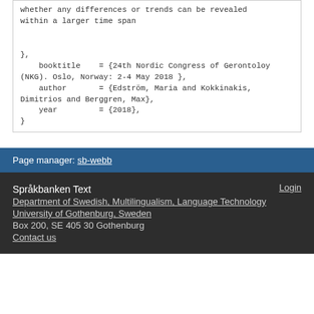...and try to get a clear perspective on whether any differences or trends can be revealed within a larger time span

},
    booktitle    = {24th Nordic Congress of Gerontoloy (NKG). Oslo, Norway: 2-4 May 2018 },
    author       = {Edström, Maria and Kokkinakis, Dimitrios and Berggren, Max},
    year         = {2018},
}
Page manager: sb-webb
Språkbanken Text
Department of Swedish, Multilingualism, Language Technology
University of Gothenburg, Sweden
Box 200, SE 405 30 Gothenburg
Contact us